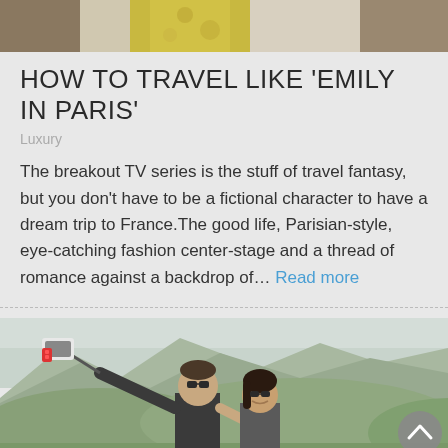[Figure (photo): Top portion of fashion photo showing people in colorful outfits, partially cropped]
HOW TO TRAVEL LIKE 'EMILY IN PARIS'
Luxury
The breakout TV series is the stuff of travel fantasy, but you don't have to be a fictional character to have a dream trip to France.The good life, Parisian-style, eye-catching fashion center-stage and a thread of romance against a backdrop of… Read more
[Figure (photo): Couple taking a selfie with mountains and greenery in the background, man holding selfie stick with red-handled phone clip]